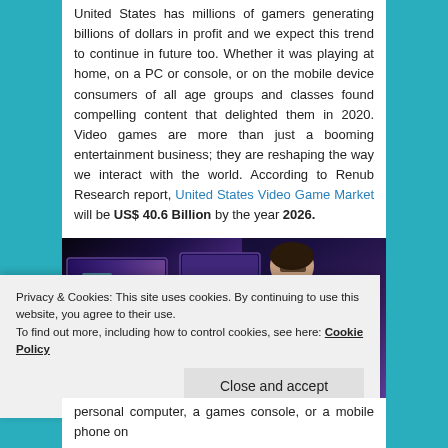United States has millions of gamers generating billions of dollars in profit and we expect this trend to continue in future too. Whether it was playing at home, on a PC or console, or on the mobile device consumers of all age groups and classes found compelling content that delighted them in 2020. Video games are more than just a booming entertainment business; they are reshaping the way we interact with the world. According to Renub Research report, United States Video Game Market will be US$ 40.6 Billion by the year 2026.
[Figure (photo): A gamer from behind, wearing a white jersey with a logo, looking at gaming monitors in a dark room with colorful screen glow.]
Privacy & Cookies: This site uses cookies. By continuing to use this website, you agree to their use. To find out more, including how to control cookies, see here: Cookie Policy
personal computer, a games console, or a mobile phone on